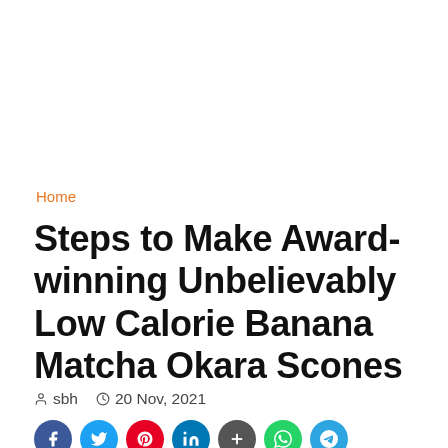Home
Steps to Make Award-winning Unbelievably Low Calorie Banana Matcha Okara Scones
sbh   20 Nov, 2021
[Figure (infographic): Row of social sharing buttons: Facebook (blue), Twitter (light blue), Pinterest (red), LinkedIn (dark blue), Google+ (dark grey), WhatsApp (green), Telegram (blue)]